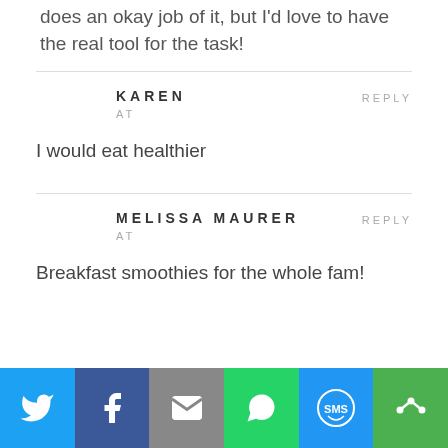does an okay job of it, but I'd love to have the real tool for the task!
KAREN
AT
REPLY
I would eat healthier
MELISSA MAURER
AT
REPLY
Breakfast smoothies for the whole fam!
[Figure (infographic): Social sharing bar with Twitter, Facebook, Email, WhatsApp, SMS, and More buttons]